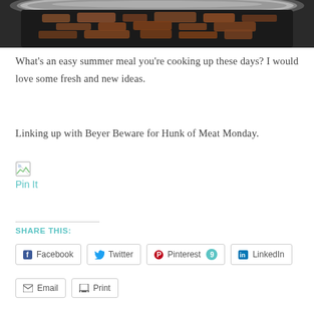[Figure (photo): Close-up photo of pulled/shredded meat in a dark slow cooker pot, viewed from above at an angle.]
What's an easy summer meal you're cooking up these days? I would love some fresh and new ideas.
Linking up with Beyer Beware for Hunk of Meat Monday.
[Figure (illustration): Small broken image icon (Pinterest pin it button image failed to load).]
Pin It
SHARE THIS:
Facebook  Twitter  Pinterest 9  LinkedIn  Email  Print